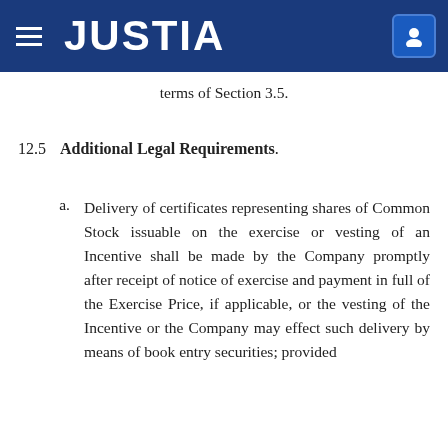JUSTIA
terms of Section 3.5.
12.5  Additional Legal Requirements.
a.  Delivery of certificates representing shares of Common Stock issuable on the exercise or vesting of an Incentive shall be made by the Company promptly after receipt of notice of exercise and payment in full of the Exercise Price, if applicable, or the vesting of the Incentive or the Company may effect such delivery by means of book entry securities; provided